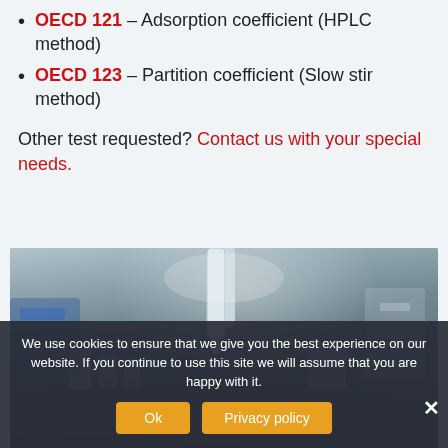OECD 121 – Adsorption coefficient (HPLC method)
OECD 123 – Partition coefficient (Slow stir method)
Other test requested? Contact us with your special needs.
[Figure (photo): Laboratory photo showing scientific glassware and equipment including a white tube/pipette device and glass containers on a lab bench with blue equipment in the background.]
We use cookies to ensure that we give you the best experience on our website. If you continue to use this site we will assume that you are happy with it.